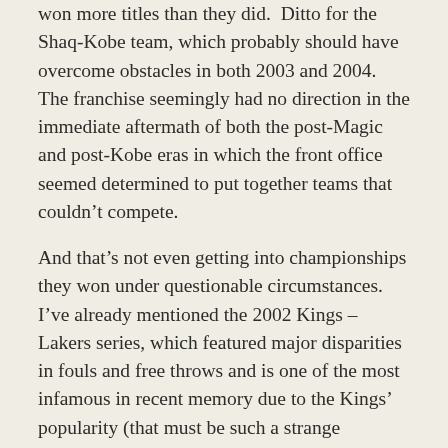won more titles than they did. Ditto for the Shaq-Kobe team, which probably should have overcome obstacles in both 2003 and 2004. The franchise seemingly had no direction in the immediate aftermath of both the post-Magic and post-Kobe eras in which the front office seemed determined to put together teams that couldn't compete.
And that's not even getting into championships they won under questionable circumstances. I've already mentioned the 2002 Kings – Lakers series, which featured major disparities in fouls and free throws and is one of the most infamous in recent memory due to the Kings' popularity (that must be such a strange sentence to read for anyone who didn't watch basketball back in the early aughts). I've also mentioned the 2000 Blazers – Lakers series, which isn't as controversial nationally due to the Blazers' unpopularity (this was the beginning of the JailBlazers era), but in many ways the disparity in fouls was more egregious than the one in the Kings series. And in the 1988 Finals against the Pistons, the Lakers forced a Game 7 on Kareem's go-ahead free throws that were awarded on one of the six out of roughly eleventy